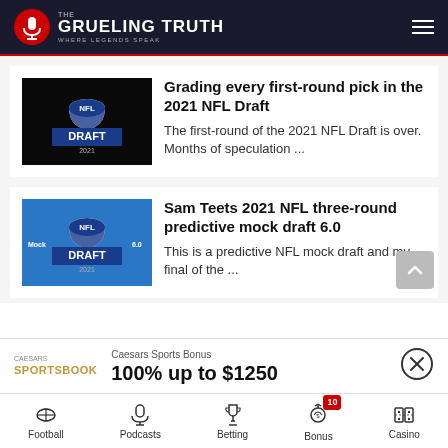THE GRUELING TRUTH – WHERE LEGENDS SPEAK
Grading every first-round pick in the 2021 NFL Draft
The first-round of the 2021 NFL Draft is over. Months of speculation ...
Sam Teets 2021 NFL three-round predictive mock draft 6.0
This is a predictive NFL mock draft and my final of the ...
Caesars Sports Bonus
100% up to $1250
Football | Podcasts | Betting | Bonus 10 | Casino